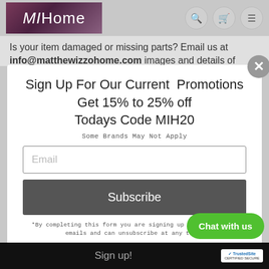MIHome
Is your item damaged or missing parts? Email us at info@matthewizzohome.com images and details of
Sign Up For Our Current  Promotions
Get 15% to 25% off
Todays Code MIH20
Some Brands May Not Apply
Email
Subscribe
*By completing this form you are signing up to receive our emails and can unsubscribe at any time.
Chat with us
Sign up!
[Figure (logo): TrustedSite Certified Secure badge]